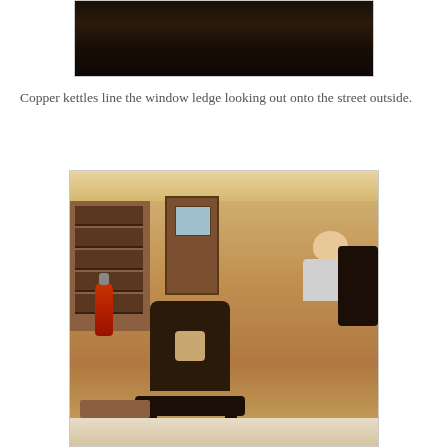[Figure (photo): Partial view of interior, dark scene possibly showing window ledge with copper kettles — only top portion visible, mostly dark tones.]
Copper kettles line the window ledge looking out onto the street outside.
[Figure (photo): Interior of a traditional British cafe or tearoom showing dark wooden chairs in the foreground, shelving units on the left wall, a door in the center background, a fire extinguisher on the left, a person seated in the background, and a table surface in the very foreground with what appears to be a menu.]